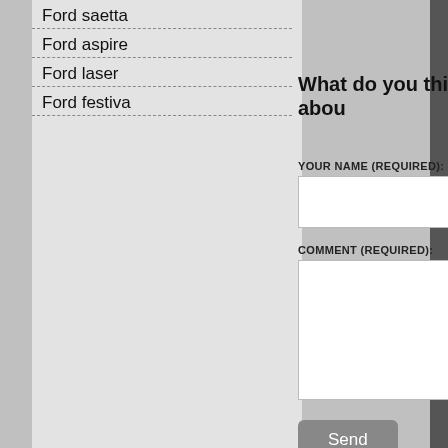Ford saetta
Ford aspire
Ford laser
Ford festiva
What do you think abou
YOUR NAME (REQUIRED):
COMMENT (REQUIRED):
Send